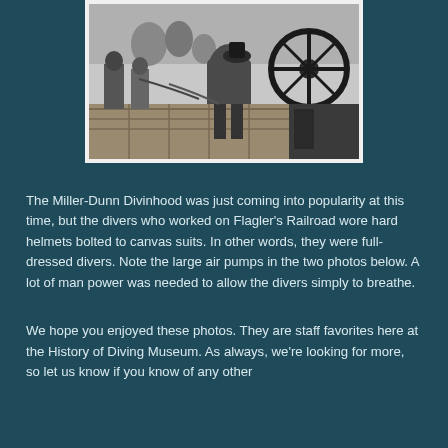[Figure (photo): Black and white historical photograph showing workers operating large air pumps, with men gathered around equipment on what appears to be a dock or boat setting.]
The Miller-Dunn Divinhood was just coming into popularity at this time, but the divers who worked on Flagler's Railroad wore hard helmets bolted to canvas suits. In other words, they were full-dressed divers. Note the large air pumps in the two photos below. A lot of man power was needed to allow the divers simply to breathe.
We hope you enjoyed these photos. They are staff favorites here at the History of Diving Museum. As always, we're looking for more, so let us know if you know of any other